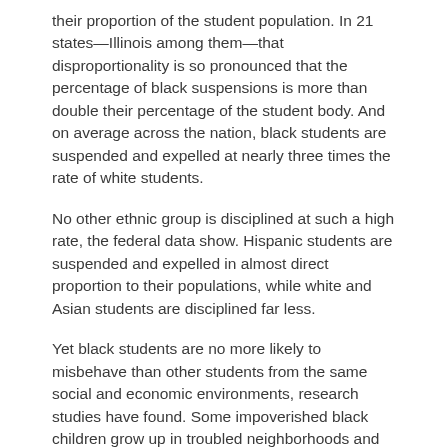their proportion of the student population. In 21 states—Illinois among them—that disproportionality is so pronounced that the percentage of black suspensions is more than double their percentage of the student body. And on average across the nation, black students are suspended and expelled at nearly three times the rate of white students.
No other ethnic group is disciplined at such a high rate, the federal data show. Hispanic students are suspended and expelled in almost direct proportion to their populations, while white and Asian students are disciplined far less.
Yet black students are no more likely to misbehave than other students from the same social and economic environments, research studies have found. Some impoverished black children grow up in troubled neighborhoods and come from broken families, leaving them less equipped to conform to behavioral expectations